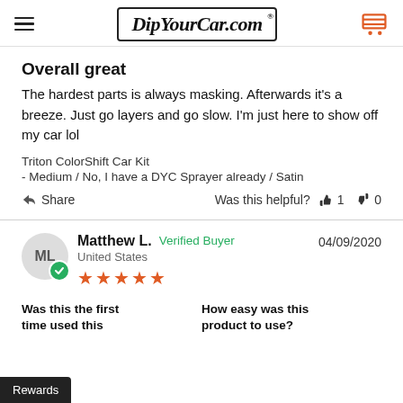DipYourCar.com
Overall great
The hardest parts is always masking. Afterwards it's a breeze. Just go layers and go slow. I'm just here to show off my car lol
Triton ColorShift Car Kit
- Medium / No, I have a DYC Sprayer already / Satin
Share   Was this helpful?  👍 1  👎 0
Matthew L.  Verified Buyer   04/09/2020
United States
★★★★★
Was this the first
time used this
How easy was this
product to use?